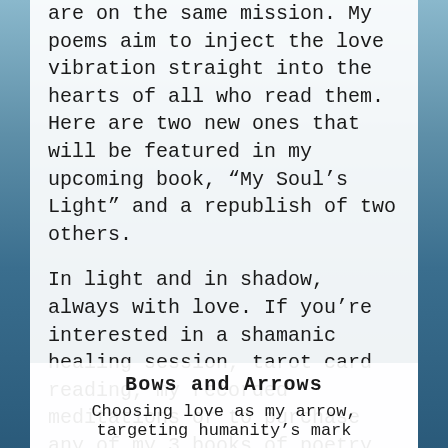are on the same mission. My poems aim to inject the love vibration straight into the hearts of all who read them. Here are two new ones that will be featured in my upcoming book, “My Soul’s Light” and a republish of two others.
In light and in shadow, always with love. If you’re interested in a shamanic healing session, tarot card reading, my recorded meditations or to purchase any of my 3 books of poetry please click the link below.
https://linktr.ee/Ladysag77
Bows and Arrows
Choosing love as my arrow, targeting humanity's mark